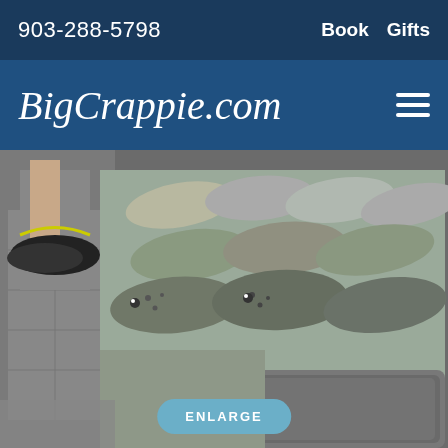903-288-5798   Book  Gifts
BigCrappie.com
[Figure (photo): Multiple crappie fish laid out on a cleaning table, with a person's legs and shoes visible in the background on a wet floor. A metal tub is visible in the foreground.]
ENLARGE